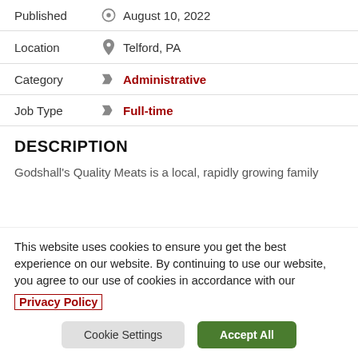Published   August 10, 2022
Location   Telford, PA
Category   Administrative
Job Type   Full-time
DESCRIPTION
Godshall's Quality Meats is a local, rapidly growing family
This website uses cookies to ensure you get the best experience on our website. By continuing to use our website, you agree to our use of cookies in accordance with our Privacy Policy
Cookie Settings   Accept All